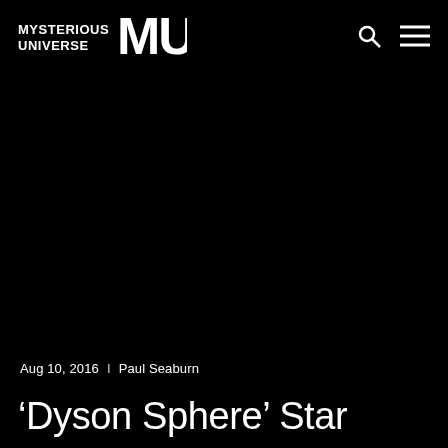MYSTERIOUS UNIVERSE MU
[Figure (photo): Large dark/black background area serving as hero image space]
Aug 10, 2016  |  Paul Seaburn
‘Dyson Sphere’ Star